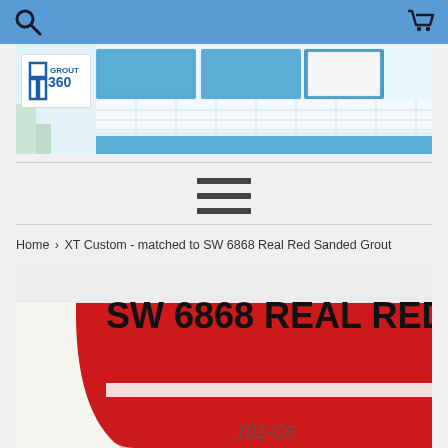[Figure (screenshot): Website header navigation bar with blue background, search icon on left and shopping cart icon on right]
[Figure (photo): Grout 360 banner showing a modern kitchen with blue cabinets and white tile backsplash]
[Figure (illustration): Hamburger menu icon with three horizontal lines]
Home › XT Custom - matched to SW 6868 Real Red Sanded Grout
[Figure (photo): Product image showing SW 6868 REAL RED paint chip with red color swatch and label reading 101-C6]